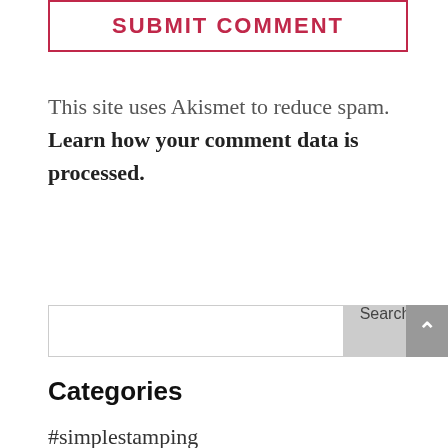[Figure (other): SUBMIT COMMENT button with crimson border and text]
This site uses Akismet to reduce spam. Learn how your comment data is processed.
[Figure (screenshot): Search input box with Search button and scroll-to-top arrow button]
Categories
#simplestamping